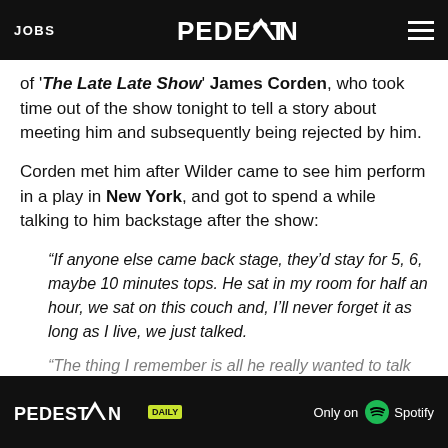JOBS | PEDESTRIAN | (menu)
of 'The Late Late Show' James Corden, who took time out of the show tonight to tell a story about meeting him and subsequently being rejected by him.
Corden met him after Wilder came to see him perform in a play in New York, and got to spend a while talking to him backstage after the show:
“If anyone else came back stage, they’d stay for 5, 6, maybe 10 minutes tops. He sat in my room for half an hour, we sat on this couch and, I’ll never forget it as long as I live, we just talked.
“The thing I remember is all he really wanted to talk a... [continues] ...ing in New York, and I think the world is a better place...
[Figure (other): PEDESTRIAN DAILY Only on Spotify advertisement banner at the bottom of the page]